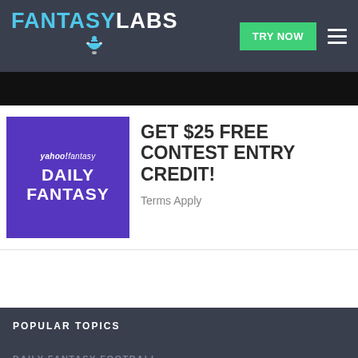FANTASYLABS | TRY NOW
[Figure (screenshot): Dark image strip at top of content area]
[Figure (illustration): Yahoo! Fantasy Daily Fantasy purple promotional banner image]
GET $25 FREE CONTEST ENTRY CREDIT!
Terms Apply
POPULAR TOPICS
DAILY FANTASY FOOTBALL